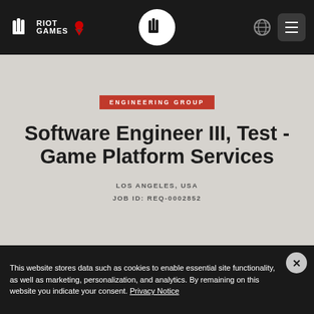Riot Games — Navigation bar with logo, center icon, globe and menu buttons
Software Engineer III, Test - Game Platform Services
ENGINEERING GROUP
LOS ANGELES, USA
JOB ID: REQ-0002852
This website stores data such as cookies to enable essential site functionality, as well as marketing, personalization, and analytics. By remaining on this website you indicate your consent. Privacy Notice